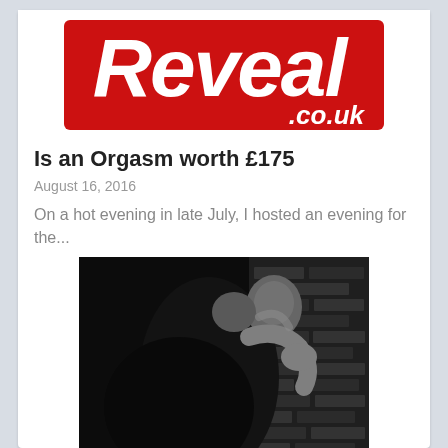[Figure (logo): Reveal.co.uk magazine logo — white bold italic 'Reveal' text on red background with '.co.uk' in white on red]
Is an Orgasm worth £175
August 16, 2016
On a hot evening in late July, I hosted an evening for the...
[Figure (photo): Black and white photograph of two people embracing against a brick wall]